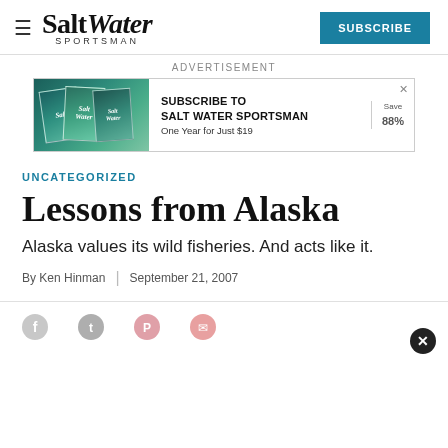Salt Water Sportsman — SUBSCRIBE
[Figure (other): Salt Water Sportsman magazine subscription advertisement with magazine cover images, text 'SUBSCRIBE TO SALT WATER SPORTSMAN One Year for Just $19', Save 88%]
UNCATEGORIZED
Lessons from Alaska
Alaska values its wild fisheries. And acts like it.
By Ken Hinman | September 21, 2007
[Figure (other): Social sharing icons: Facebook, Twitter, Pinterest, Email]